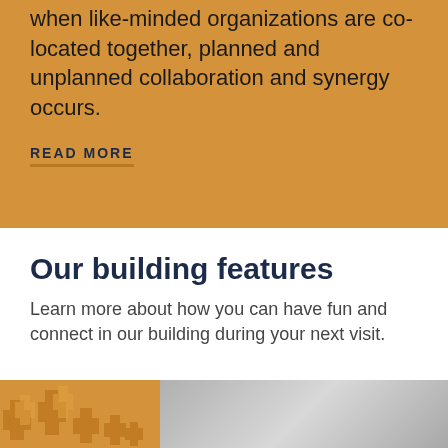when like-minded organizations are co-located together, planned and unplanned collaboration and synergy occurs.
READ MORE
Our building features
Learn more about how you can have fun and connect in our building during your next visit.
[Figure (illustration): Decorative puzzle piece icons in golden/orange color overlapping with a photograph of a building interior]